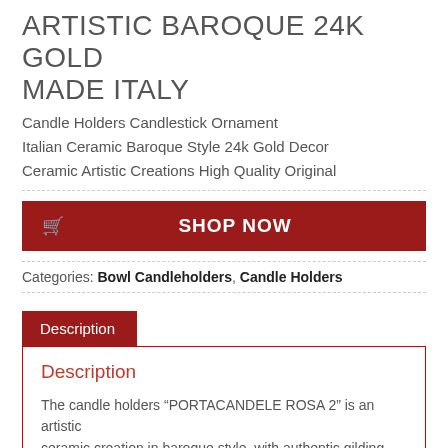ARTISTIC BAROQUE 24K GOLD MADE ITALY
Candle Holders Candlestick Ornament Italian Ceramic Baroque Style 24k Gold Decor Ceramic Artistic Creations High Quality Original
[Figure (other): Red 'SHOP NOW' button with shopping cart icon]
Categories: Bowl Candleholders, Candle Holders
Description
Description
The candle holders “PORTACANDELE ROSA 2” is an artistic ceramic creation in baroque style, with authentic gilding